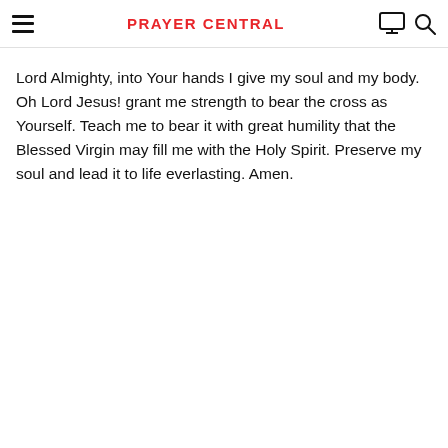PRAYER CENTRAL
Lord Almighty, into Your hands I give my soul and my body. Oh Lord Jesus! grant me strength to bear the cross as Yourself. Teach me to bear it with great humility that the Blessed Virgin may fill me with the Holy Spirit. Preserve my soul and lead it to life everlasting. Amen.